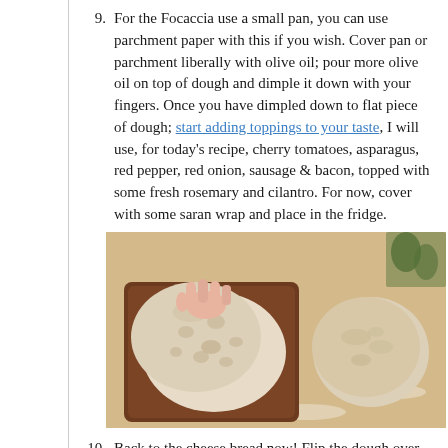9. For the Focaccia use a small pan, you can use parchment paper with this if you wish. Cover pan or parchment liberally with olive oil; pour more olive oil on top of dough and dimple it down with your fingers. Once you have dimpled down to flat piece of dough; start adding toppings to your taste, I will use, for today's recipe, cherry tomatoes, asparagus, red pepper, red onion, sausage & bacon, topped with some fresh rosemary and cilantro. For now, cover with some saran wrap and place in the fridge.
[Figure (photo): Photo of two dough pieces on a wooden cutting board — one shaped and dimpled on a dark wooden tray (being pressed by a hand), and one round ball of dough next to it, with flour scattered on the board.]
10. Back to the cheese bread now! Flip the dough over seam side up and place on parchment paper dusted